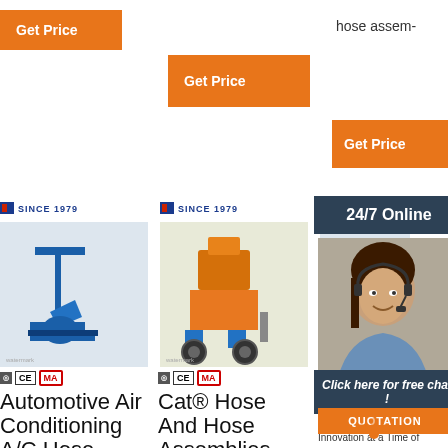hose assem-
[Figure (screenshot): Get Price orange button top left]
[Figure (screenshot): Get Price orange button top center]
[Figure (screenshot): Get Price orange button top right]
[Figure (photo): Industrial machine product 1 - blue mortar spraying machine]
[Figure (photo): Industrial machine product 2 - orange yellow concrete sprayer]
[Figure (photo): Industrial machine product 3 - partial view]
[Figure (photo): 24/7 Online chat agent - woman with headset smiling]
24/7 Online
Click here for free chat !
QUOTATION
Automotive Air Conditioning A/C Hose Fittings
Cat® Hose And Hose Assemblies – Hydraulic Hose
National Rubber Corporation
Purpose-Driven
Innovation at a Time of